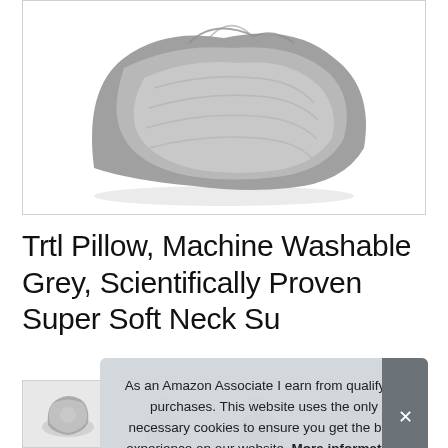[Figure (photo): Grey Trtl travel pillow product photo on white background, showing a soft folded/crumpled fleece grey pillow]
Trtl Pillow, Machine Washable Grey, Scientifically Proven Super Soft Neck Su
As an Amazon Associate I earn from qualifying purchases. This website uses the only necessary cookies to ensure you get the best experience on our website. More information
[Figure (photo): Thumbnail strip of product images showing the Trtl pillow in use from different angles]